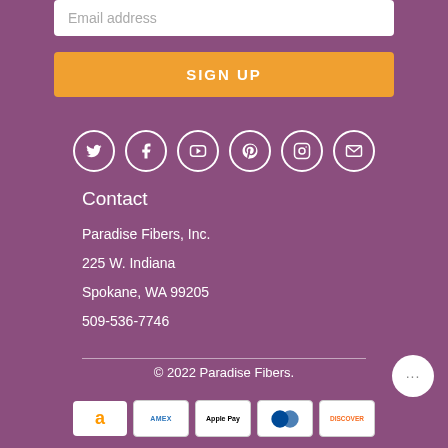Email address
SIGN UP
[Figure (infographic): Social media icons in circles: Twitter, Facebook, YouTube, Pinterest, Instagram, Email]
Contact
Paradise Fibers, Inc.
225 W. Indiana
Spokane, WA 99205
509-536-7746
© 2022 Paradise Fibers.
[Figure (logo): Payment method logos: Amazon, American Express, Apple Pay, Diners Club, Discover]